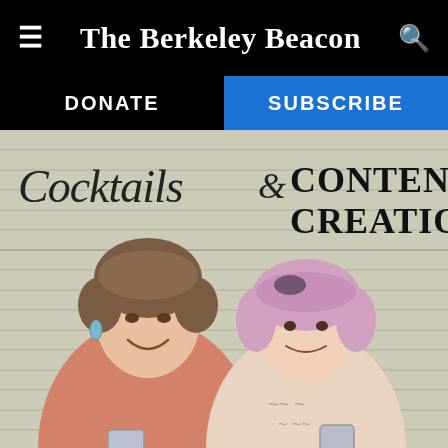The Berkeley Beacon
DONATE
SUBSCRIBE
[Figure (photo): Two women smiling and holding drinks in front of a sign reading 'Cocktails & CONTENT CREATION' against a light-colored siding wall background. One woman has short brown hair and wears a pink sweater; the other has pink bobbed hair and wears a beige patterned top.]